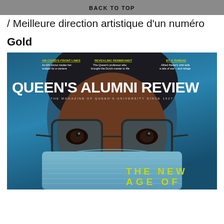BACK TO TOP
/ Meilleure direction artistique d'un numéro
Gold
[Figure (photo): Magazine cover of Queen's Alumni Review featuring a close-up photo of a person wearing glasses and a surgical mask against a blue background. Top stories shown: 'On Covid's Front Lines – An ER doctor trades her scalpel for a camera', 'Revealing Rembrandt – The Queen's professor who brought the Dutch master to life', 'By a Thread – Alfred Bader's shirt tells a tale of war – and refuge'. Main title: QUEEN'S ALUMNI REVIEW. Subtitle: THE MAGAZINE OF QUEEN'S UNIVERSITY SINCE 1927. Bottom text: THE NEW AGE OF]